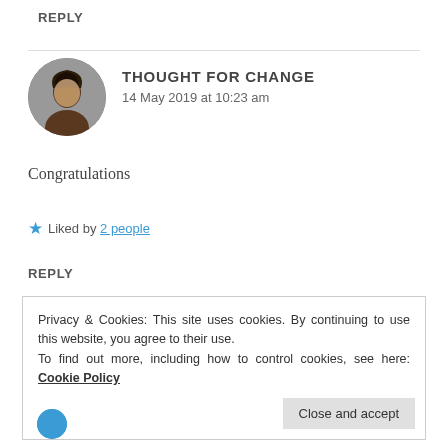REPLY
[Figure (photo): Circular avatar photo of a person with dark hair]
THOUGHT FOR CHANGE
14 May 2019 at 10:23 am
Congratulations
★ Liked by 2 people
REPLY
Privacy & Cookies: This site uses cookies. By continuing to use this website, you agree to their use.
To find out more, including how to control cookies, see here: Cookie Policy
Close and accept